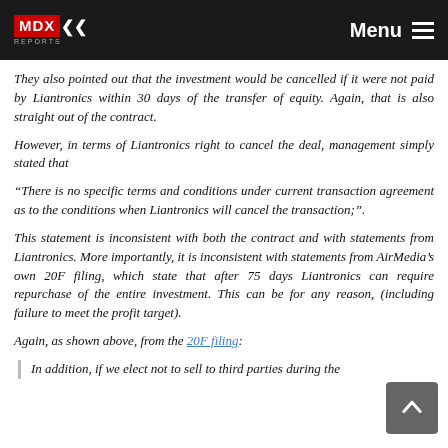MDX Reports — Menu
They also pointed out that the investment would be cancelled if it were not paid by Liantronics within 30 days of the transfer of equity. Again, that is also straight out of the contract.
However, in terms of Liantronics right to cancel the deal, management simply stated that
“There is no specific terms and conditions under current transaction agreement as to the conditions when Liantronics will cancel the transaction;”.
This statement is inconsistent with both the contract and with statements from Liantronics. More importantly, it is inconsistent with statements from AirMedia’s own 20F filing, which state that after 75 days Liantronics can require repurchase of the entire investment. This can be for any reason, (including failure to meet the profit target).
Again, as shown above, from the 20F filing:
In addition, if we elect not to sell to third parties during the